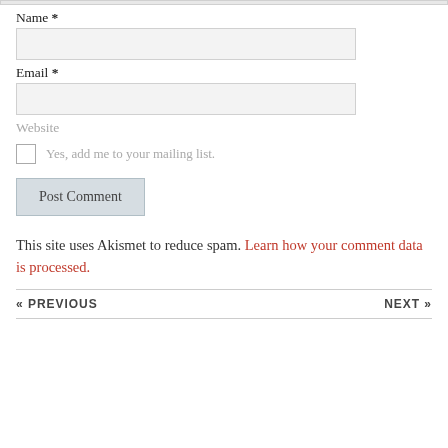Name *
Email *
Website
Yes, add me to your mailing list.
Post Comment
This site uses Akismet to reduce spam. Learn how your comment data is processed.
« PREVIOUS
NEXT »